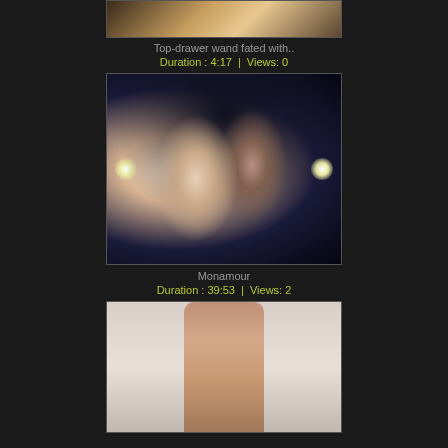[Figure (screenshot): Partial video thumbnail at top of page showing cropped content]
Top-drawer wand fated with..
Duration : 4:17 | Views: 0
[Figure (screenshot): Video thumbnail showing two people kissing in a dimly lit scene with studio lights visible]
Monamour
Duration : 39:53 | Views: 2
[Figure (screenshot): Partial video thumbnail at bottom showing a person standing against a light background]